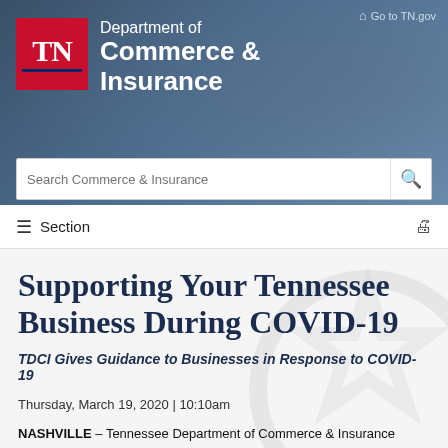Department of Commerce & Insurance
Go to TN.gov
Supporting Your Tennessee Business During COVID-19
TDCI Gives Guidance to Businesses in Response to COVID-19
Thursday, March 19, 2020 | 10:10am
NASHVILLE – Tennessee Department of Commerce & Insurance (TDCI) is issuing guidance to Tennessee's businesses in order to ensure they remain